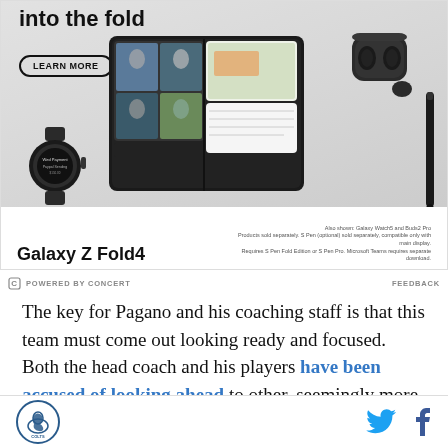[Figure (illustration): Samsung Galaxy Z Fold4 advertisement showing the phone, Galaxy Watch5, Buds2 Pro, and S Pen. Text reads 'into the fold' with a 'LEARN MORE' button. Bottom shows product name 'Galaxy Z Fold4' and disclaimer text about Galaxy Watch5 and Buds2 Pro sold separately.]
POWERED BY CONCERT   FEEDBACK
The key for Pagano and his coaching staff is that this team must come out looking ready and focused. Both the head coach and his players have been accused of looking ahead to other, seemingly more important games throughout the year. The same could be said